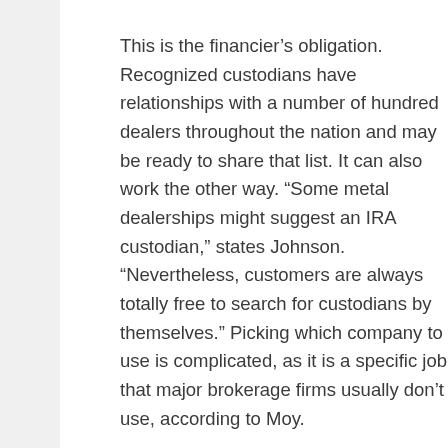This is the financier’s obligation. Recognized custodians have relationships with a number of hundred dealers throughout the nation and may be ready to share that list. It can also work the other way. “Some metal dealerships might suggest an IRA custodian,” states Johnson. “Nevertheless, customers are always totally free to search for custodians by themselves.” Picking which company to use is complicated, as it is a specific job that major brokerage firms usually don’t use, according to Moy.
Should You Get A